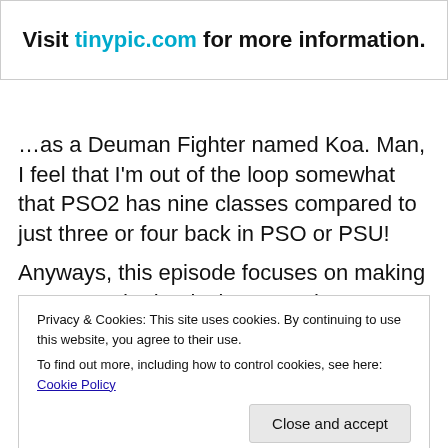[Figure (other): Banner advertisement: 'Visit tinypic.com for more information.' with 'tinypic.com' in cyan/blue and rest in bold black.]
…as a Deuman Fighter named Koa. Man, I feel that I'm out of the loop somewhat that PSO2 has nine classes compared to just three or four back in PSO or PSU!
Anyways, this episode focuses on making a party and role-playing your character, as Koa shows that he's cool
Privacy & Cookies: This site uses cookies. By continuing to use this website, you agree to their use.
To find out more, including how to control cookies, see here: Cookie Policy
[Figure (photo): Partial image at bottom showing yellow/black/white colors, appears to be a character or costume.]